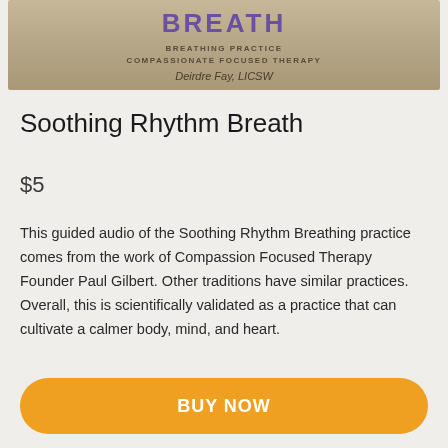[Figure (illustration): Book cover thumbnail for 'Soothing Rhythm Breath' by Deirdre Fay, LICSW — showing title 'BREATH' in purple, subtitle 'BREATHING PRACTICE COMPASSIONATE FOCUSED THERAPY', and author name on a warm tan/beige background]
Soothing Rhythm Breath
$5
This guided audio of the Soothing Rhythm Breathing practice comes from the work of Compassion Focused Therapy Founder Paul Gilbert. Other traditions have similar practices.  Overall, this is scientifically validated as a practice that can cultivate a calmer body, mind, and heart.
BUY NOW